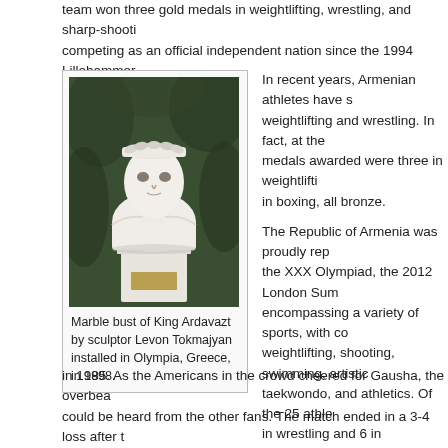team won three gold medals in weightlifting, wrestling, and sharp-shooting, competing as an official independent nation since the 1994 Lillehammer
[Figure (photo): Marble bust of King Ardavazt, a white marble sculpture on a pedestal, photographed outdoors with green foliage in the background.]
Marble bust of King Ardavazt by sculptor Levon Tokmajyan installed in Olympia, Greece, in 1998.
In recent years, Armenian athletes have s... weightlifting and wrestling. In fact, at the ... medals awarded were three in weightlifti... in boxing, all bronze.
The Republic of Armenia was proudly rep... the XXX Olympiad, the 2012 London Sum... encompassing a variety of sports, with co... weightlifting, shooting, swimming, artistic... taekwondo, and athletics. Of the 25 athle... in wrestling and 6 in weightlifting.
Armenian President Serge Sarkisian was... London Opening Ceremony on Fri., July ... attended the Armenian Open-Air Festival... of the Armenian Apostolic Church in the U... in honor of Armenia's athletes participatin... watched some of the athletes perform on... boxing match for men's middle (75 kg.) b... and the American Terrell Gausha. Hakoby...
in 1985. As the Americans in the crowd cheered for Gausha, the overbea... could be heard from the other fans. The match ended in a 3-4 loss after t... the contest.